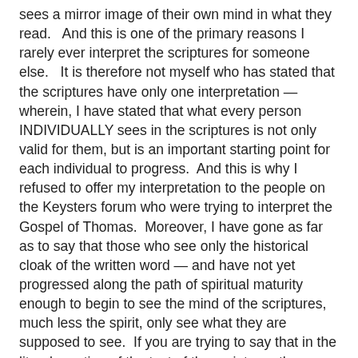sees a mirror image of their own mind in what they read.   And this is one of the primary reasons I rarely ever interpret the scriptures for someone else.   It is therefore not myself who has stated that the scriptures have only one interpretation — wherein, I have stated that what every person INDIVIDUALLY sees in the scriptures is not only valid for them, but is an important starting point for each individual to progress.  And this is why I refused to offer my interpretation to the people on the Keysters forum who were trying to interpret the Gospel of Thomas.  Moreover, I have gone as far as to say that those who see only the historical cloak of the written word — and have not yet progressed along the path of spiritual maturity enough to begin to see the mind of the scriptures, much less the spirit, only see what they are supposed to see.  If you are trying to say that in the literal creation of the text of the scriptures the person who experienced the historical events in question, doesn't know whether or not the